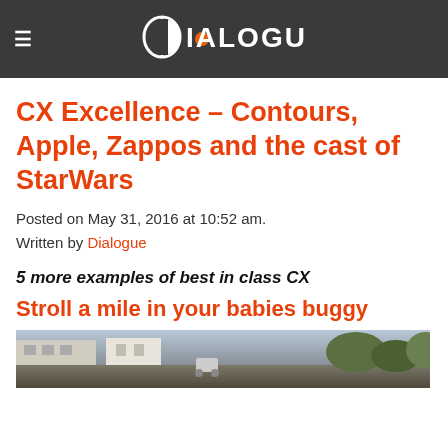Dialogue (logo navigation header)
CX Excellence – Contours, Apple, Zappos and the cast of StarWars
Posted on May 31, 2016 at 10:52 am.
Written by Dialogue
5 more examples of best in class CX
Stroll a mile in your babies buggy
[Figure (photo): Outdoor scene, partial view of a stroller/buggy in an exterior environment]